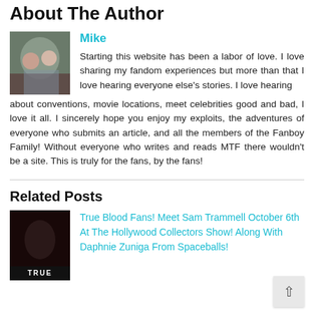About The Author
Mike
Starting this website has been a labor of love. I love sharing my fandom experiences but more than that I love hearing everyone else's stories. I love hearing about conventions, movie locations, meet celebrities good and bad, I love it all. I sincerely hope you enjoy my exploits, the adventures of everyone who submits an article, and all the members of the Fanboy Family! Without everyone who writes and reads MTF there wouldn't be a site. This is truly for the fans, by the fans!
Related Posts
True Blood Fans! Meet Sam Trammell October 6th At The Hollywood Collectors Show! Along With Daphnie Zuniga From Spaceballs!